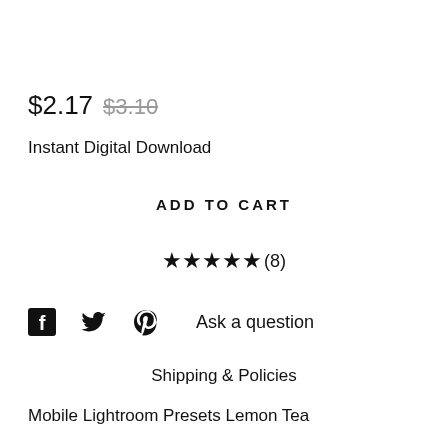$2.17 $3.10
Instant Digital Download
ADD TO CART
★★★★★(8)
Ask a question
Shipping & Policies
Mobile Lightroom Presets Lemon Tea
Special edition HO-HO-HOLIDAYS 🎄